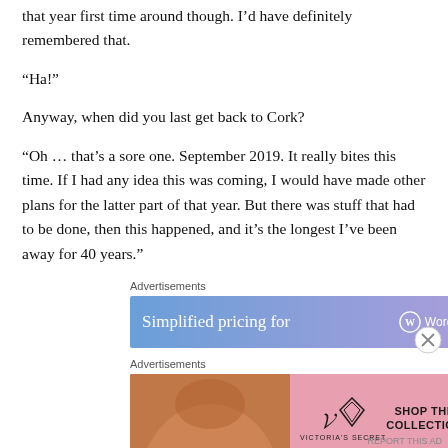that year first time around though. I’d have definitely remembered that.
“Ha!”
Anyway, when did you last get back to Cork?
“Oh … that’s a sore one. September 2019. It really bites this time. If I had any idea this was coming, I would have made other plans for the latter part of that year. But there was stuff that had to be done, then this happened, and it’s the longest I’ve been away for 40 years.”
Advertisements
[Figure (screenshot): WordPress.com advertisement banner: 'Simplified pricing for' with WordPress logo]
Advertisements
[Figure (screenshot): Victoria's Secret advertisement: 'SHOP THE COLLECTION' with SHOP NOW button]